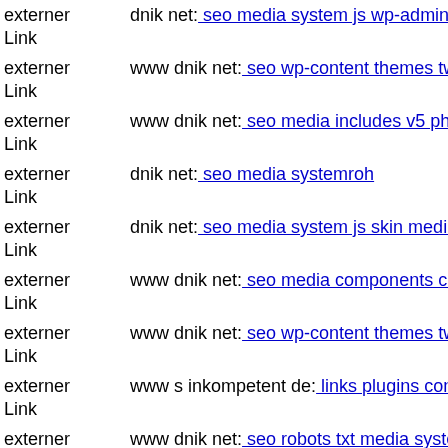externer Link  dnik net: seo media system js wp-admin includes plugins co
externer Link  www dnik net: seo wp-content themes twentyfourteen wp-c
externer Link  www dnik net: seo media includes v5 php
externer Link  dnik net: seo media systemroh
externer Link  dnik net: seo media system js skin media style php
externer Link  www dnik net: seo media components com maian15 charts
externer Link  www dnik net: seo wp-content themes twentyeleven core ti
externer Link  www s inkompetent de: links plugins content efup files bla
externer Link  www dnik net: seo robots txt media system js
externer Link  dnik net: seo media system js'veerzv magmi conf magmi in
externer Link  s inkompetent de: links wp-content api downloader compor
externer Link  www dnik net: seo media system js cfg-contactform-10